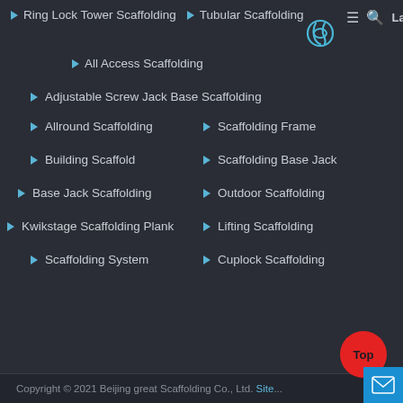Ring Lock Tower Scaffolding  Tubular Scaffolding  All Access Scaffolding
Adjustable Screw Jack Base Scaffolding
Allround Scaffolding
Scaffolding Frame
Building Scaffold
Scaffolding Base Jack
Base Jack Scaffolding
Outdoor Scaffolding
Kwikstage Scaffolding Plank
Lifting Scaffolding
Scaffolding System
Cuplock Scaffolding
Copyright © 2021 Beijing great Scaffolding Co., Ltd.  Site...